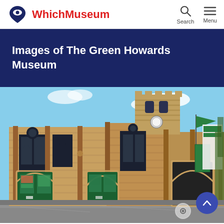WhichMuseum
Images of The Green Howards Museum
[Figure (photo): Exterior photograph of The Green Howards Museum, housed in a historic stone church building with Gothic arched windows, green wooden doors with displays, and a tower visible in the background. Green flags/banners hang from the building. Blue sky with clouds visible.]